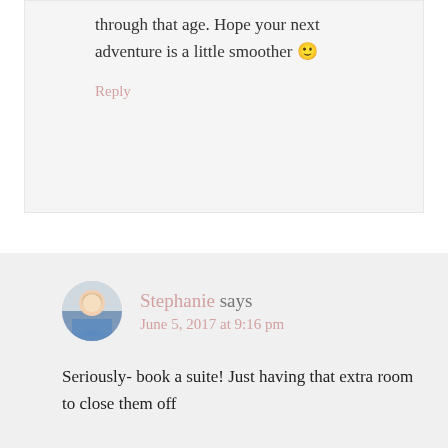through that age. Hope your next adventure is a little smoother 🙂
Reply
Stephanie says
June 5, 2017 at 9:16 pm
Seriously- book a suite! Just having that extra room to close them off